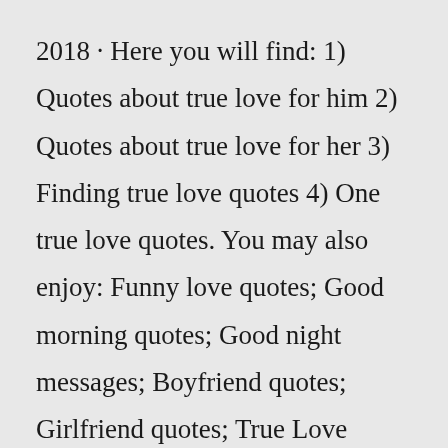2018 · Here you will find: 1) Quotes about true love for him 2) Quotes about true love for her 3) Finding true love quotes 4) One true love quotes. You may also enjoy: Funny love quotes; Good morning quotes; Good night messages; Boyfriend quotes; Girlfriend quotes; True Love Quotes For Him. He's perfect, he's the one and you are not letting him go. "The first symptom of true love in a man is timidity, in a young